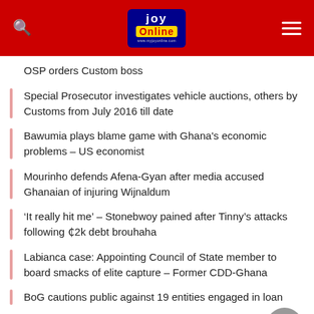Joy Online
OSP orders Custom boss
Special Prosecutor investigates vehicle auctions, others by Customs from July 2016 till date
Bawumia plays blame game with Ghana's economic problems – US economist
Mourinho defends Afena-Gyan after media accused Ghanaian of injuring Wijnaldum
'It really hit me' – Stonebwoy pained after Tinny's attacks following ¢2k debt brouhaha
La bianca case: Appointing Council of State member to board smacks of elite capture – Former CDD-Ghana
BoG cautions public against 19 entities engaged in loan